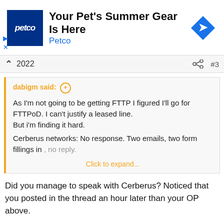[Figure (other): Petco advertisement banner with blue logo, text 'Your Pet's Summer Gear Is Here', 'Petco' brand name in blue, and a blue diamond navigation arrow icon]
2022  #3
dabigm said: ⊕

As I'm not going to be getting FTTP I figured I'll go for FTTPoD. I can't justify a leased line.
But i'm finding it hard.

Cerberus networks: No response. Two emails, two form fillings in , no reply.

Click to expand...
Did you manage to speak with Cerberus? Noticed that you posted in the thread an hour later than your OP above.
Cerberus Networks FOD, this is cool
Jesus that was expensive, given the fairly short distance to the